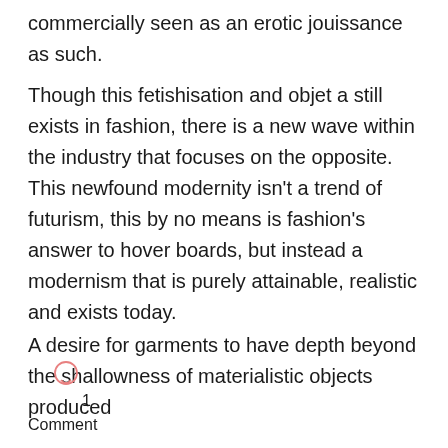commercially seen as an erotic jouissance as such.
Though this fetishisation and objet a still exists in fashion, there is a new wave within the industry that focuses on the opposite. This newfound modernity isn't a trend of futurism, this by no means is fashion's answer to hover boards, but instead a modernism that is purely attainable, realistic and exists today.
A desire for garments to have depth beyond the shallowness of materialistic objects produced
1
Comment